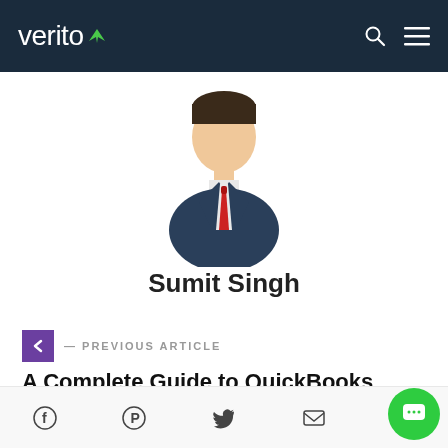verito
[Figure (illustration): Cartoon illustration of a business person (man in dark suit with red tie) avatar/profile picture]
Sumit Singh
< — PREVIOUS ARTICLE
A Complete Guide to QuickBooks Hosting for Businesses
NEXT ARTICLE >
Social share icons: Facebook, Pinterest, Twitter, Email, WhatsApp